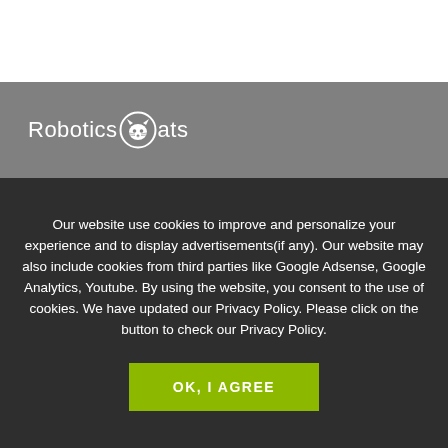[Figure (logo): RoboticsCats logo with cat face icon in a circle replacing the letter C, white text on gray background]
Our website use cookies to improve and personalize your experience and to display advertisements(if any). Our website may also include cookies from third parties like Google Adsense, Google Analytics, Youtube. By using the website, you consent to the use of cookies. We have updated our Privacy Policy. Please click on the button to check our Privacy Policy.
OK, I AGREE